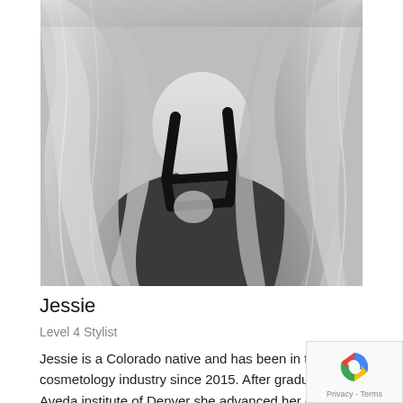[Figure (photo): Black and white portrait photo of a woman with long wavy blonde hair, wearing a black strappy top, hair cascading across her face and shoulders.]
Jessie
Level 4 Stylist
Jessie is a Colorado native and has been in the cosmetology industry since 2015. After graduating at Aveda institute of Denver she advanced her career at